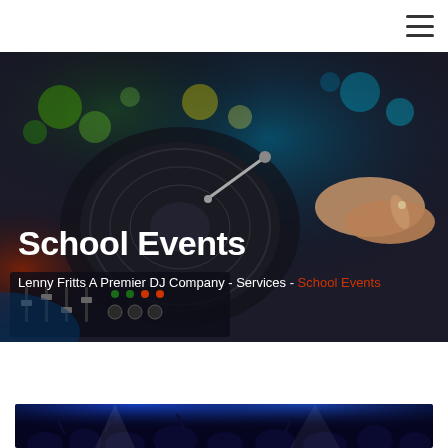[Figure (photo): DJ turntable and mixer equipment photo with dark background, colorful bokeh lights in blue, green and yellow, with hands visible on the right side]
School Events
Lenny Fritts A Premier DJ Company - Services - School Events
[Figure (photo): Crowd of people dancing at a school event with blue stage lighting and spotlights]